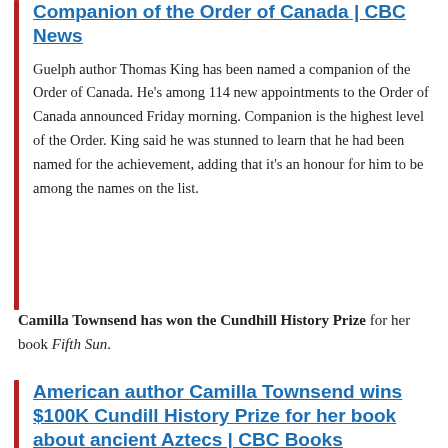Companion of the Order of Canada | CBC News
Guelph author Thomas King has been named a companion of the Order of Canada. He's among 114 new appointments to the Order of Canada announced Friday morning. Companion is the highest level of the Order. King said he was stunned to learn that he had been named for the achievement, adding that it's an honour for him to be among the names on the list.
Camilla Townsend has won the Cundhill History Prize for her book Fifth Sun.
American author Camilla Townsend wins $100K Cundill History Prize for her book about ancient Aztecs | CBC Books
American historian Camilla Townsend has won the 2020 Cundill History Prize for her book Fifth Sun: A New